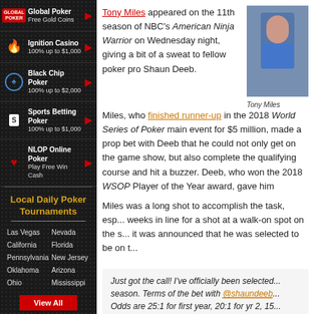Global Poker Free Gold Coins
Ignition Casino 100% up to $1,000
Black Chip Poker 100% up to $2,000
Sports Betting Poker 100% up to $1,000
NLOP Online Poker Play Free Win Cash
Local Daily Poker Tournaments
Las Vegas
Nevada
California
Florida
Pennsylvania
New Jersey
Oklahoma
Arizona
Ohio
Mississippi
Tony Miles appeared on the 11th season of NBC's American Ninja Warrior on Wednesday night, giving a bit of a sweat to fellow poker pro Shaun Deeb.
[Figure (photo): Photo of Tony Miles]
Tony Miles
Miles, who finished runner-up in the 2018 World Series of Poker main event for $5 million, made a prop bet with Deeb that he could not only get on the game show, but also complete the qualifying course and hit a buzzer. Deeb, who won the 2018 WSOP Player of the Year award, gave him
Miles was a long shot to accomplish the task, esp... weeks in line for a shot at a walk-on spot on the s... it was announced that he was selected to be on t...
Just got the call! I've officially been selected... season. Terms of the bet with @shaundeeb... Odds are 25:1 for first year, 20:1 for yr 2, 15...